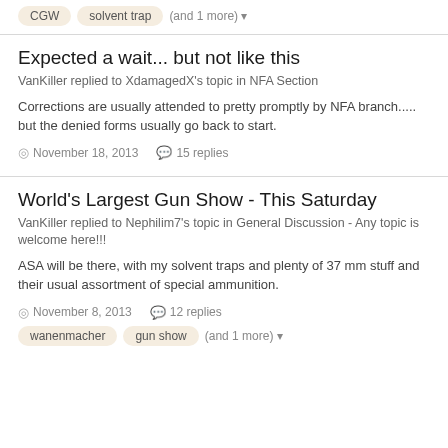CGW  solvent trap  (and 1 more)
Expected a wait... but not like this
VanKiller replied to XdamagedX's topic in NFA Section
Corrections are usually attended to pretty promptly by NFA branch..... but the denied forms usually go back to start.
November 18, 2013   15 replies
World's Largest Gun Show - This Saturday
VanKiller replied to Nephilim7's topic in General Discussion - Any topic is welcome here!!!
ASA will be there, with my solvent traps and plenty of 37 mm stuff and their usual assortment of special ammunition.
November 8, 2013   12 replies
wanenmacher  gun show  (and 1 more)